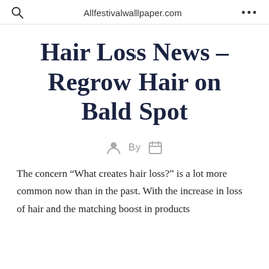Allfestivalwallpaper.com
Hair Loss News – Regrow Hair on Bald Spot
By
The concern “What creates hair loss?” is a lot more common now than in the past. With the increase in loss of hair and the matching boost in products